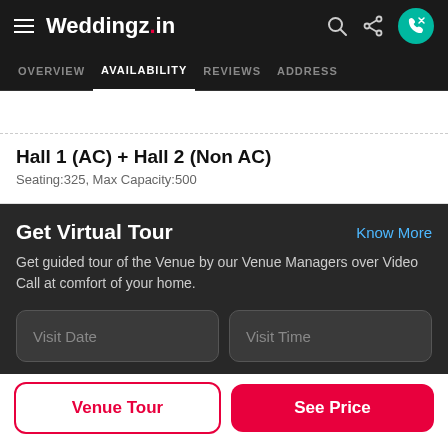Weddingz.in
OVERVIEW  AVAILABILITY  REVIEWS  ADDRESS
Hall 1 (AC) + Hall 2 (Non AC)
Seating:325, Max Capacity:500
Get Virtual Tour
Get guided tour of the Venue by our Venue Managers over Video Call at comfort of your home.
Visit Date
Visit Time
Venue Tour
See Price